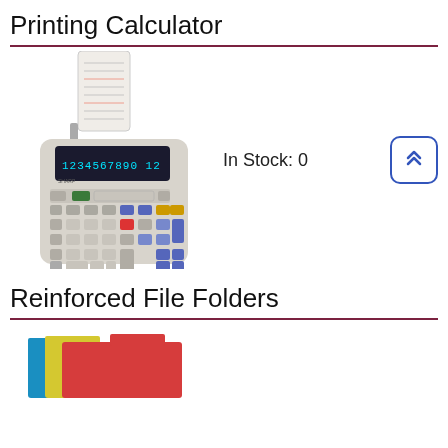Printing Calculator
[Figure (photo): Photo of a Sharp printing calculator with paper tape roll and numeric keypad]
In Stock: 0
Reinforced File Folders
[Figure (photo): Photo of colorful reinforced file folders in blue, yellow, and red stacked together]